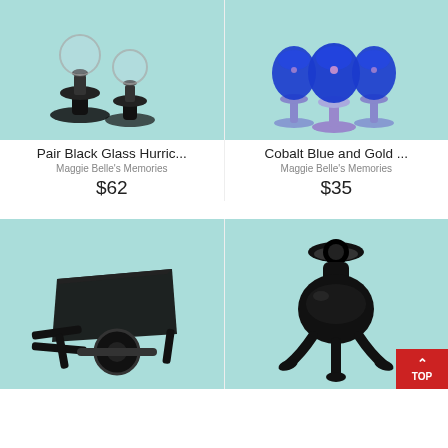[Figure (photo): Two black glass hurricane candle holders with clear globe tops on a mint/teal background]
Pair Black Glass Hurric...
Maggie Belle's Memories
$62
[Figure (photo): Three cobalt blue and gold decorated goblets/wine glasses on a mint/teal background]
Cobalt Blue and Gold ...
Maggie Belle's Memories
$35
[Figure (photo): Black glass wheelbarrow figurine on a mint/teal background]
[Figure (photo): Black glass candle holder with three feet/legs on a mint/teal background, with a red TOP button overlay in the corner]